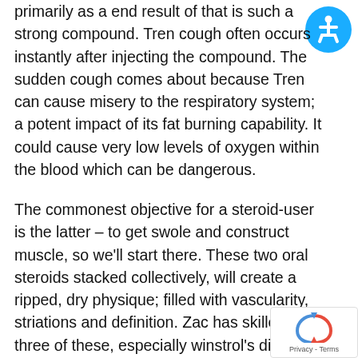primarily as a end result of that is such a strong compound. Tren cough often occurs instantly after injecting the compound. The sudden cough comes about because Tren can cause misery to the respiratory system; a potent impact of its fat burning capability. It could cause very low levels of oxygen within the blood which can be dangerous.
[Figure (illustration): Blue circular accessibility icon with a person/wheelchair user symbol in white]
The commonest objective for a steroid-user is the latter – to get swole and construct muscle, so we'll start there. These two oral steroids stacked collectively, will create a ripped, dry physique; filled with vascularity, striations and definition. Zac has skilled all three of these, especially winstrol's diuretic impact – as he's extraordinarily
[Figure (logo): Google reCAPTCHA badge with spinning arrow logo and Privacy - Terms text]